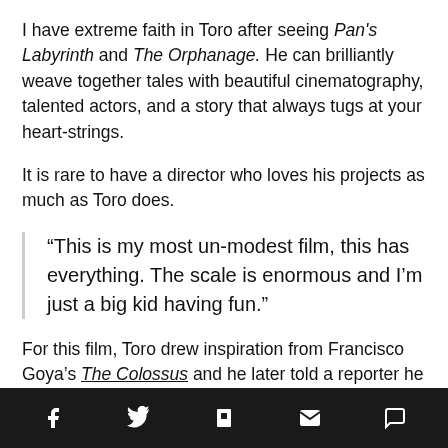I have extreme faith in Toro after seeing Pan's Labyrinth and The Orphanage. He can brilliantly weave together tales with beautiful cinematography, talented actors, and a story that always tugs at your heart-strings.
It is rare to have a director who loves his projects as much as Toro does.
“This is my most un-modest film, this has everything. The scale is enormous and I’m just a big kid having fun.”
For this film, Toro drew inspiration from Francisco Goya’s The Colossus and he later told a reporter he hoped
[social share icons: Facebook, Twitter, Flipboard, Email, Comment]